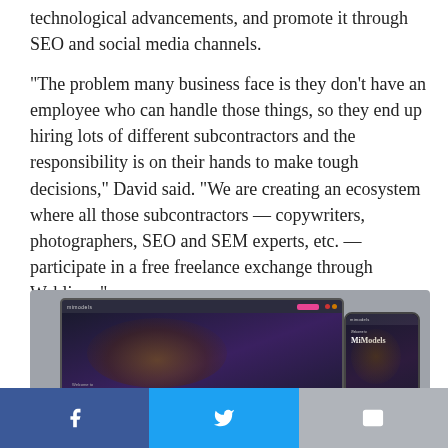technological advancements, and promote it through SEO and social media channels.
“The problem many business face is they don’t have an employee who can handle those things, so they end up hiring lots of different subcontractors and the responsibility is on their hands to make tough decisions,” David said. “We are creating an ecosystem where all those subcontractors — copywriters, photographers, SEO and SEM experts, etc. — participate in a free freelance exchange through Weblium.”
[Figure (screenshot): Screenshot of the MiModels website displayed on a laptop and a phone mockup, showing the MiModels homepage with a dark background and a cat image.]
Facebook | Twitter | Email